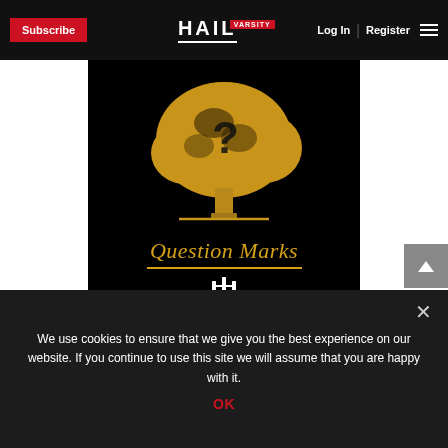Subscribe | HAIL VARSITY | Log In | Register
[Figure (logo): Question Marks podcast artwork: a golden illustrated tree with a question mark in the canopy, the text 'Question Marks' in gold italic serif font below, and the Hurrdat Media logo at the bottom, all on a black background.]
We use cookies to ensure that we give you the best experience on our website. If you continue to use this site we will assume that you are happy with it.
OK